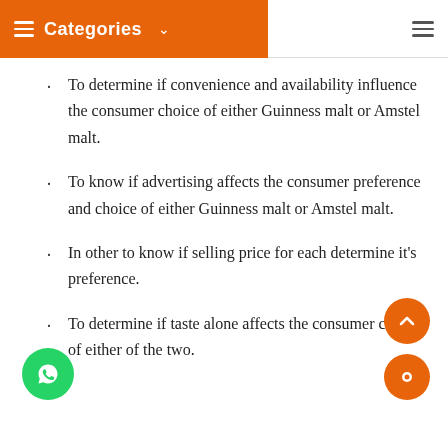Categories
To determine if convenience and availability influence the consumer choice of either Guinness malt or Amstel malt.
To know if advertising affects the consumer preference and choice of either Guinness malt or Amstel malt.
In other to know if selling price for each determine it's preference.
To determine if taste alone affects the consumer choice of either of the two.